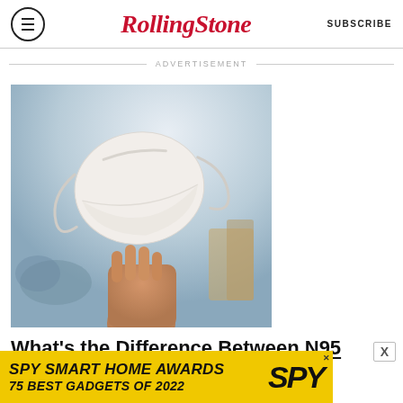Rolling Stone — SUBSCRIBE
ADVERTISEMENT
[Figure (photo): Hand holding a white KN95/N95 face mask up against a blurred outdoor background]
What's the Difference Between N95 Masks and KN95 Masks?
[Figure (infographic): SPY Smart Home Awards — 75 Best Gadgets of 2022 advertisement banner in yellow with SPY logo]